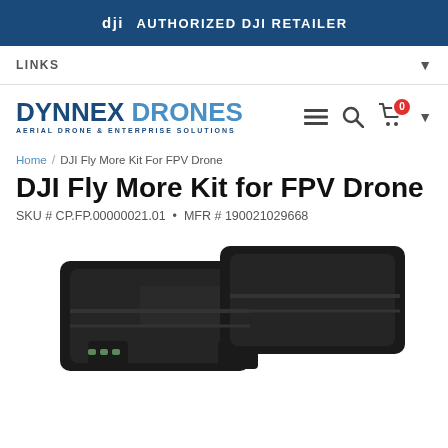AUTHORIZED DJI RETAILER
LINKS
[Figure (logo): Dynnex Drones logo — DYNNEX DRONES / AERIAL DRONE & ENTERPRISE SOLUTIONS with navigation icons (hamburger menu, search, cart with 0 badge)]
Home / DJI Fly More Kit For FPV Drone
DJI Fly More Kit for FPV Drone
SKU # CP.FP.00000021.01  •  MFR # 190021029668
[Figure (photo): Black DJI FPV drone battery pack / Fly More Kit accessories photographed on white background]